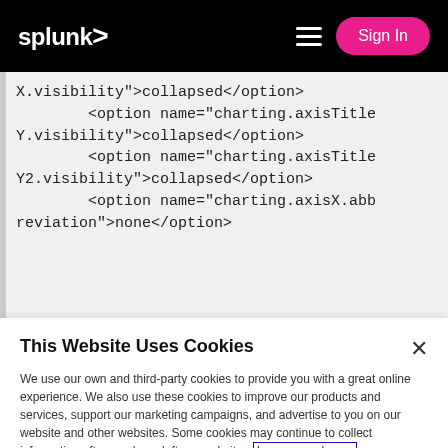splunk> Sign In
X.visibility">collapsed</option>
        <option name="charting.axisTitleY.visibility">collapsed</option>
        <option name="charting.axisTitleY2.visibility">collapsed</option>
        <option name="charting.axisX.abbreviation">none</option>
This Website Uses Cookies
We use our own and third-party cookies to provide you with a great online experience. We also use these cookies to improve our products and services, support our marketing campaigns, and advertise to you on our website and other websites. Some cookies may continue to collect information after you have left our website. Learn more here ›
Accept Cookies   Cookies Settings ›